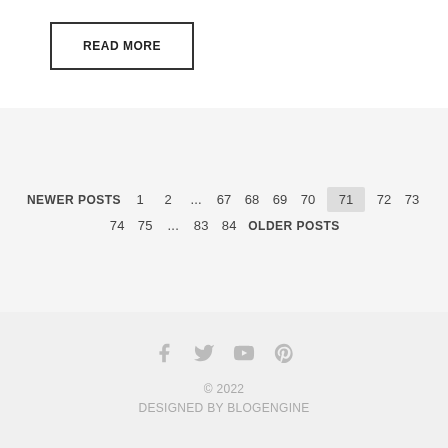READ MORE
NEWER POSTS  1  2  ...  67  68  69  70  71  72  73  74  75  ...  83  84  OLDER POSTS
© 2022
DESIGNED BY BLOGENGINE